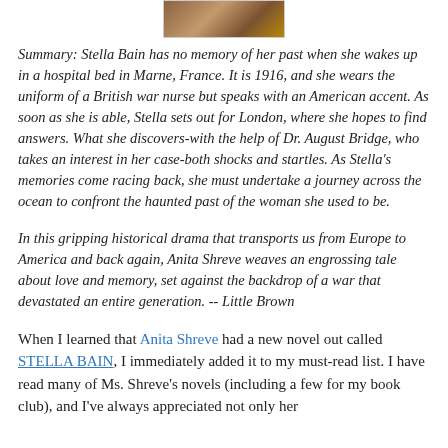[Figure (photo): Partial view of a book cover image at the top of the page]
Summary: Stella Bain has no memory of her past when she wakes up in a hospital bed in Marne, France. It is 1916, and she wears the uniform of a British war nurse but speaks with an American accent. As soon as she is able, Stella sets out for London, where she hopes to find answers. What she discovers-with the help of Dr. August Bridge, who takes an interest in her case-both shocks and startles. As Stella's memories come racing back, she must undertake a journey across the ocean to confront the haunted past of the woman she used to be.
In this gripping historical drama that transports us from Europe to America and back again, Anita Shreve weaves an engrossing tale about love and memory, set against the backdrop of a war that devastated an entire generation. -- Little Brown
When I learned that Anita Shreve had a new novel out called STELLA BAIN, I immediately added it to my must-read list. I have read many of Ms. Shreve's novels (including a few for my book club), and I've always appreciated not only her